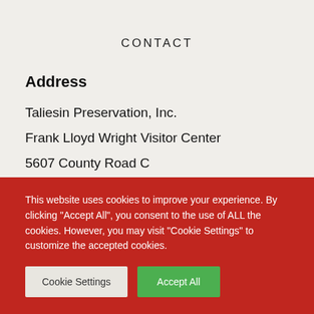CONTACT
Address
Taliesin Preservation, Inc.
Frank Lloyd Wright Visitor Center
5607 County Road C
Spring Green, WI, 53588
Ph
This website uses cookies to improve your experience. By clicking "Accept All", you consent to the use of ALL the cookies. However, you may visit "Cookie Settings" to customize the accepted cookies.